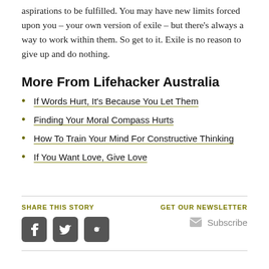aspirations to be fulfilled. You may have new limits forced upon you – your own version of exile – but there's always a way to work within them. So get to it. Exile is no reason to give up and do nothing.
More From Lifehacker Australia
If Words Hurt, It's Because You Let Them
Finding Your Moral Compass Hurts
How To Train Your Mind For Constructive Thinking
If You Want Love, Give Love
SHARE THIS STORY | GET OUR NEWSLETTER | Subscribe